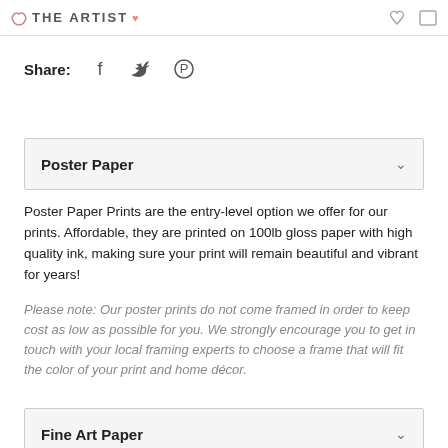THE ARTIST
Share:
Poster Paper
Poster Paper Prints are the entry-level option we offer for our prints. Affordable, they are printed on 100lb gloss paper with high quality ink, making sure your print will remain beautiful and vibrant for years!
Please note: Our poster prints do not come framed in order to keep cost as low as possible for you. We strongly encourage you to get in touch with your local framing experts to choose a frame that will fit the color of your print and home décor.
Fine Art Paper